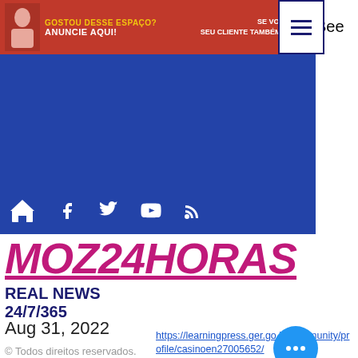[Figure (screenshot): Red advertisement banner with text 'GOSTOU DESSE ESPAÇO? ANUNCIE AQUI!' and 'SE VOCÊ VIU, SEU CLIENTE TAMBÉM VERÁ!' with hamburger menu icon]
[Figure (screenshot): Blue navigation bar with home icon, Facebook, Twitter, YouTube, and RSS icons]
MOZ24HORAS
REAL NEWS
24/7/365
Aug 31, 2022
© Todos direitos reservados.
https://learningpress.ger.go.id/community/profile/casinoen27005652/
http://164.52.218.177/happyr/index.php/forum/profile/casinoen30248400/
http://forum.bobstore.com.ua/profile/ca n35773462/